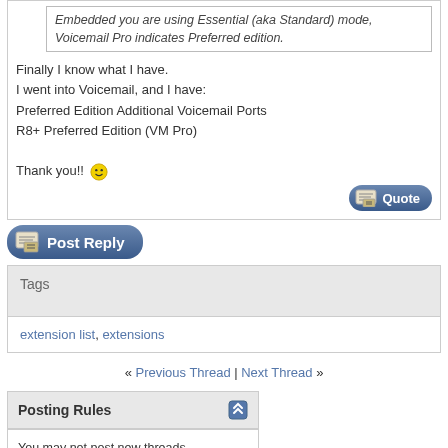Embedded you are using Essential (aka Standard) mode, Voicemail Pro indicates Preferred edition.
Finally I know what I have.
I went into Voicemail, and I have:
Preferred Edition Additional Voicemail Ports
R8+ Preferred Edition (VM Pro)

Thank you!!
[Figure (screenshot): Post Reply button]
Tags
extension list, extensions
« Previous Thread | Next Thread »
Posting Rules
You may not post new threads
You may not post replies
You may not post attachments